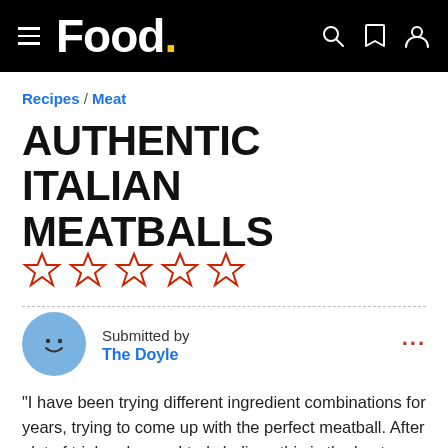Food.
Recipes / Meat
AUTHENTIC ITALIAN MEATBALLS
[Figure (other): Five empty star rating icons in red outline]
Submitted by
The Doyle
"I have been trying different ingredient combinations for years, trying to come up with the perfect meatball. After alot of trial and error, I truly believe this is the best meatball!"